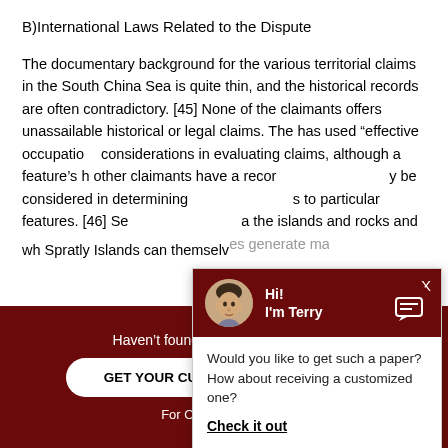B)International Laws Related to the Dispute
The documentary background for the various territorial claims in the South China Sea is quite thin, and the historical records are often contradictory. [45] None of the claimants offers unassailable historical or legal claims. The has used "effective occupation" considerations in evaluating claims, although a feature's h other claimants have a recor be considered in determining s to particular features. [46] Se the islands and rocks and wh Spratly Islands can themselves generate maritime zones.
[Figure (other): Chat popup overlay with avatar of man named Terry, asking 'Would you like to get such a paper? How about receiving a customized one?' with 'Check it out' link]
[Figure (other): Dark red circular chat icon button]
Haven't found the Essay You Want?
GET YOUR CUSTOM ESSAY SAMPLE
For Only $13.90/page